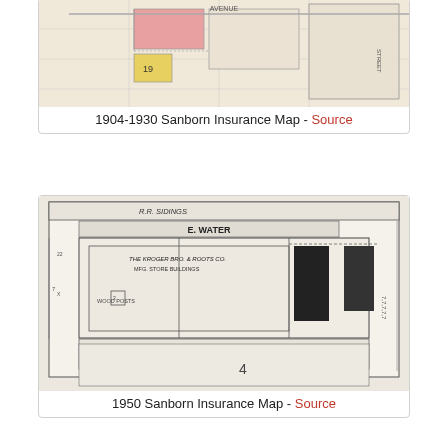[Figure (map): Partial view of 1904-1930 Sanborn Insurance Map showing building footprints with colored fills including pink and yellow sections]
1904-1930 Sanborn Insurance Map - Source
[Figure (map): 1950 Sanborn Insurance Map showing detailed building layout including The Kroger Bro & Roots Co. Mfg. Store building along E. Water street with surrounding lots and dimensions]
1950 Sanborn Insurance Map - Source
Kroger owned these buildings until 1960, when they were sold to Hamilton County. Other uses had been considered over the years but many people remember this land as parking lots to attend Cincinnati Reds and Bengals games. Today we get to enjoy our riverfront as a wonderful park.